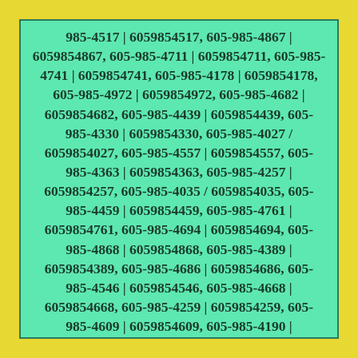985-4517 | 6059854517, 605-985-4867 | 6059854867, 605-985-4711 | 6059854711, 605-985-4741 | 6059854741, 605-985-4178 | 6059854178, 605-985-4972 | 6059854972, 605-985-4682 | 6059854682, 605-985-4439 | 6059854439, 605-985-4330 | 6059854330, 605-985-4027 / 6059854027, 605-985-4557 | 6059854557, 605-985-4363 | 6059854363, 605-985-4257 | 6059854257, 605-985-4035 / 6059854035, 605-985-4459 | 6059854459, 605-985-4761 | 6059854761, 605-985-4694 | 6059854694, 605-985-4868 | 6059854868, 605-985-4389 | 6059854389, 605-985-4686 | 6059854686, 605-985-4546 | 6059854546, 605-985-4668 | 6059854668, 605-985-4259 | 6059854259, 605-985-4609 | 6059854609, 605-985-4190 | 6059854190, 605-985-4381 | 6059854381, 605-985-4417 | 6059854417, 605-985-4282 | 6059854282, 605-985-4537 | 6059854537, 605-985-4065 / 6059854065, 605-985-4110 | 6059854110, 605-985-4004 + 6059854004, 605-985-4080 / 6059854080, 605-985-4640 | 6059854640.
605-985-4342 | 6059854342, 605-985-4063 /